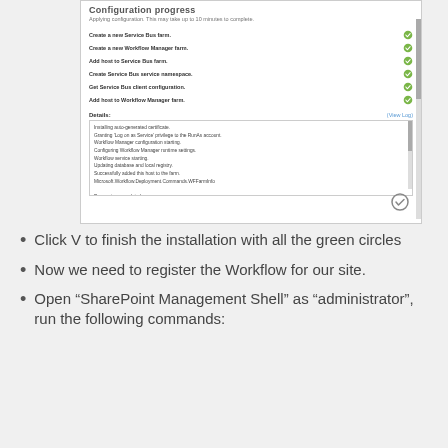[Figure (screenshot): Configuration progress dialog showing steps: Create a new Service Bus farm, Create a new Workflow Manager farm, Add host to Service Bus farm, Create Service Bus service namespace, Get Service Bus client configuration, Add host to Workflow Manager farm — all with green checkmarks. Details section showing log output including: Installing auto-generated certificate, Granting Log on as Service privilege to the RunAs account, Workflow Manager configuration starting, Configuring Workflow Manager runtime settings, Workflow service starting, Updating database and local registry, Successfully added this host to the farm, Microsoft.Workflow.Deployment.Commands.WFFarmInfo, Processing completed. A finish checkmark icon at bottom right.]
Click V to finish the installation with all the green circles
Now we need to register the Workflow for our site.
Open “SharePoint Management Shell” as “administrator”, run the following commands: